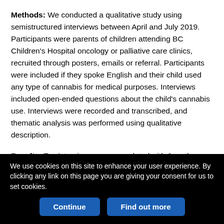Methods: We conducted a qualitative study using semistructured interviews between April and July 2019. Participants were parents of children attending BC Children's Hospital oncology or palliative care clinics, recruited through posters, emails or referral. Participants were included if they spoke English and their child used any type of cannabis for medical purposes. Interviews included open-ended questions about the child's cannabis use. Interviews were recorded and transcribed, and thematic analysis was performed using qualitative description.
Results: Ten interviews were completed with 9 mothers and 1 mother–father pair. The age range of the children was 22 months to 16 years. The primary reasons for cannabis use were epilepsy (6
We use cookies on this site to enhance your user experience. By clicking any link on this page you are giving your consent for us to set cookies.